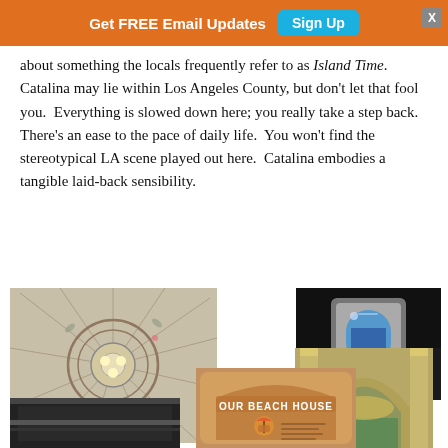Get FREE Email Updates  [Sign Up]  [X]
about something the locals frequently refer to as Island Time.  Catalina may lie within Los Angeles County, but don't let that fool you.  Everything is slowed down here; you really take a step back.  There's an ease to the pace of daily life.  You won't find the stereotypical LA scene played out here.  Catalina embodies a tangible laid-back sensibility.
[Figure (photo): Collage of four photos: decorative ceiling light fixture with radiating painted design, a camera/device on dark background, an arched architectural interior with green/gold decor, a 'Our Beach House' sign with beach chairs and umbrella graphic, and bottom of a dark framed window or door.]